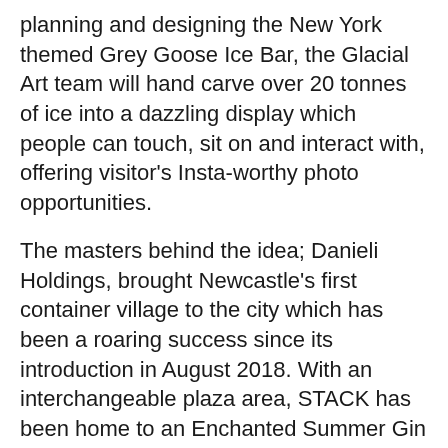planning and designing the New York themed Grey Goose Ice Bar, the Glacial Art team will hand carve over 20 tonnes of ice into a dazzling display which people can touch, sit on and interact with, offering visitor's Insta-worthy photo opportunities.
The masters behind the idea; Danieli Holdings, brought Newcastle's first container village to the city which has been a roaring success since its introduction in August 2018. With an interchangeable plaza area, STACK has been home to an Enchanted Summer Gin Garden, Hadrian's Tipi, the Festival Stage and now the New York Grey Goose Ice Bar.
Neill Winch, Director of Danieli Holdings said: